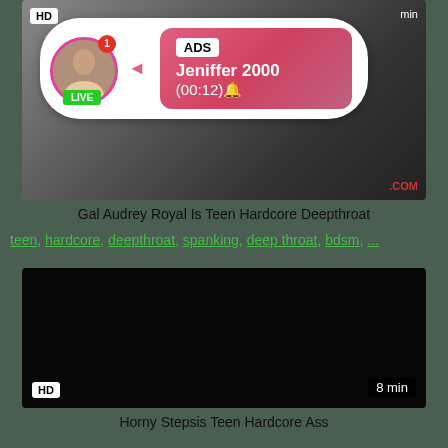[Figure (screenshot): Video thumbnail with HD badge and ad overlay showing avatar with LIVE badge, ADS label, name Jeniffer 2000, time (00:12)]
Gal Audrey Royal Is Teen Hardcore Deepthroat
teen, hardcore, deepthroat, spanking, deep throat, bdsm, ...
[Figure (screenshot): Dark video thumbnail with HD badge bottom-left and 8 min label bottom-right]
Horny Stepsis Teen Hardcore Ass